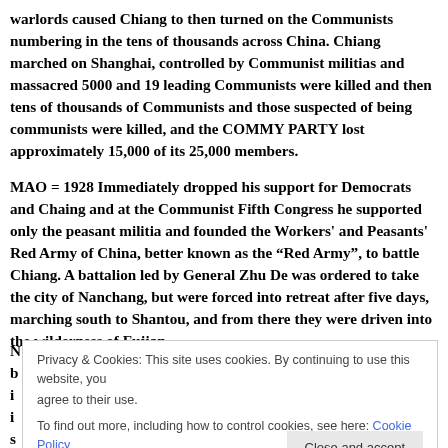warlords caused Chiang to then turned on the Communists numbering in the tens of thousands across China. Chiang marched on Shanghai, controlled by Communist militias and massacred 5000 and 19 leading Communists were killed and then tens of thousands of Communists and those suspected of being communists were killed, and the COMMY PARTY lost approximately 15,000 of its 25,000 members.
MAO = 1928 Immediately dropped his support for Democrats and Chaing and at the Communist Fifth Congress he supported only the peasant militia and founded the Workers' and Peasants' Red Army of China, better known as the "Red Army", to battle Chiang. A battalion led by General Zhu De was ordered to take the city of Nanchang, but were forced into retreat after five days, marching south to Shantou, and from there they were driven into the wilderness of Fujian.
Privacy & Cookies: This site uses cookies. By continuing to use this website, you agree to their use.
To find out more, including how to control cookies, see here: Cookie Policy